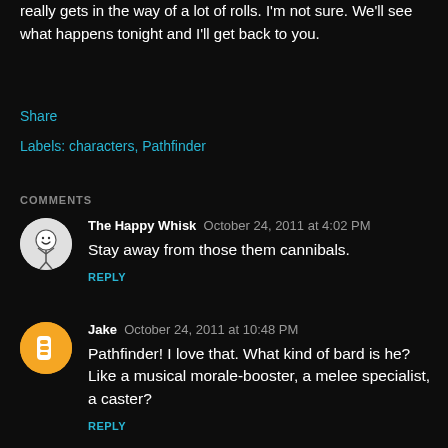really gets in the way of a lot of rolls. I'm not sure. We'll see what happens tonight and I'll get back to you.
Share
Labels: characters, Pathfinder
COMMENTS
The Happy Whisk   October 24, 2011 at 4:02 PM
Stay away from those them cannibals.
REPLY
Jake   October 24, 2011 at 10:48 PM
Pathfinder! I love that. What kind of bard is he? Like a musical morale-booster, a melee specialist, a caster?
REPLY